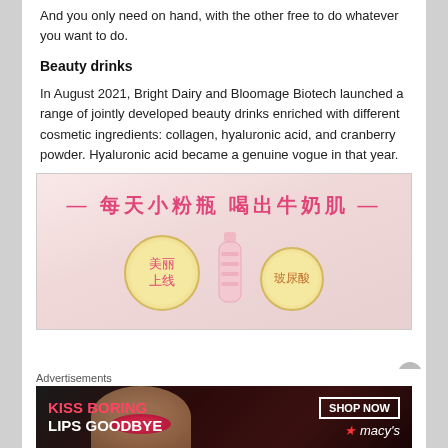And you only need on hand, with the other free to do whatever you want to do.
Beauty drinks
In August 2021, Bright Dairy and Bloomage Biotech launched a range of jointly developed beauty drinks enriched with different cosmetic ingredients: collagen, hyaluronic acid, and cranberry powder. Hyaluronic acid became a genuine vogue in that year.
[Figure (photo): Product advertisement image with Chinese text reading '每天小粉瓶 喝出牛奶肌' (Every day small pink bottle, drink out milk skin), showing circular labels with '美丽上线' and '玻尿酸' (hyaluronic acid) and a pink bottle product]
Advertisements
[Figure (photo): Macy's advertisement banner with text 'KISS BORING LIPS GOODBYE' and 'SHOP NOW' button, showing a woman's face with red lips]